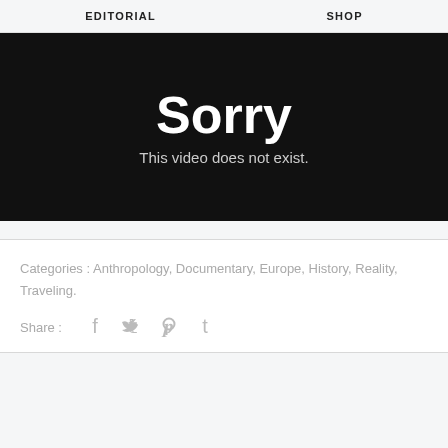EDITORIAL   SHOP
[Figure (screenshot): Black video player error screen showing 'Sorry' in large white bold text and 'This video does not exist.' in smaller white text below]
Categories : Anthropology, Documentary, Europe, History, Reality, Traveling.
Share :